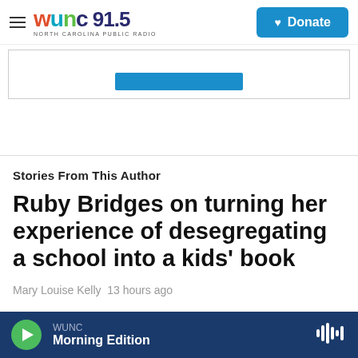WUNC 91.5 NORTH CAROLINA PUBLIC RADIO | Donate
[Figure (other): Banner advertisement box with blue button]
Stories From This Author
Ruby Bridges on turning her experience of desegregating a school into a kids' book
Mary Louise Kelly  13 hours ago
WUNC Morning Edition (audio player bar)